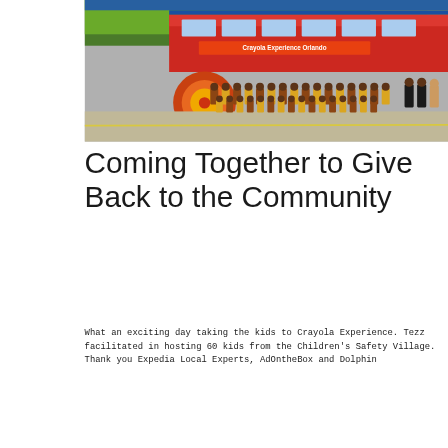[Figure (photo): Group photo of approximately 60 children wearing yellow and maroon uniforms, posed in front of a red double-decker bus with Crayola Experience Orlando branding. Several adults stand at the right. Behind the group is a colorful building facade.]
Coming Together to Give Back to the Community
What an exciting day taking the kids to Crayola Experience. Tezz facilitated in hosting 60 kids from the Children's Safety Village. Thank you Expedia Local Experts, AdOntheBox and Dolphin